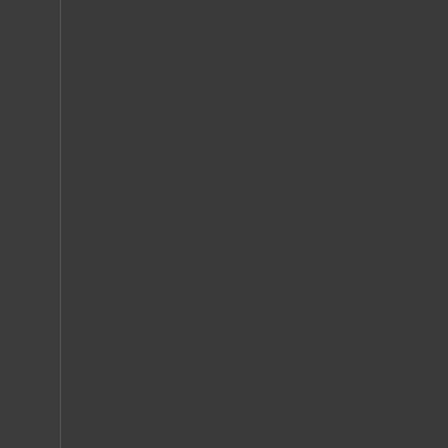years of smoking, the quality of re... reason that some have for their ... problems. However, the problems d...
To help stop a problem with mariju... "high". They will essentially be go... longer wish to exist. Getting help ... using regularly for some time, is a ... funeral, but a beginning of a new li...
Meth Abuse Help, Clermont, Geo...
There are many individuals who f... order to help yourself or someone... using meth is understood. There a... identify the reasons why an individ... to achieve a similar result through... abuse meth to help them relax. T... such as meditation and exercise. O... However, many people find that af... and social life in general can dete... meth is to avoid having to deal wi... away by themselves.
To help stop a problem with meth a... They will essentially be going into ... to exist. Getting help for meth abu... some time, is a bit like losing an ... beginning of a new life.
Alcohol Abuse Help, Clermont, G...
Alcohol abuse help is something ne... these people may not realize it or... alcohol abuse can develop into alc... period of weeks or over a period o... occasionally doesn't intend to go... process. There seems to be a line... Once an individual areas t...